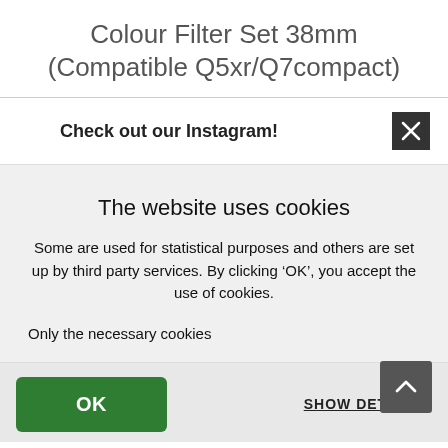Colour Filter Set 38mm (Compatible Q5xr/Q7compact)
Check out our Instagram!
The website uses cookies
Some are used for statistical purposes and others are set up by third party services. By clicking ‘OK’, you accept the use of cookies.
Only the necessary cookies
OK
SHOW DETAILS